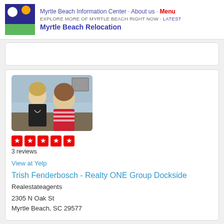Myrtle Beach Information Center · About us · Menu
EXPLORE MORE OF MYRTLE BEACH RIGHT NOW · Latest
Myrtle Beach Relocation
[Figure (photo): Two women sitting indoors, one in a black top and one in a red and white striped shirt, appearing to be in conversation]
3 reviews
View at Yelp
Trish Fenderbosch - Realty ONE Group Dockside
Realestateagents
2305 N Oak St
Myrtle Beach, SC 29577